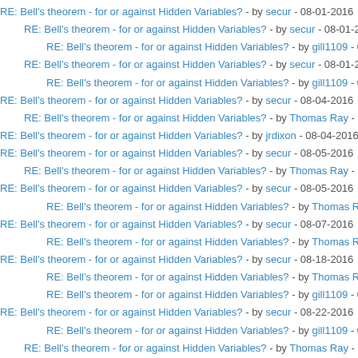RE: Bell's theorem - for or against Hidden Variables? - by secur - 08-01-2016
RE: Bell's theorem - for or against Hidden Variables? - by secur - 08-01-2016
RE: Bell's theorem - for or against Hidden Variables? - by gill1109 - 08-01
RE: Bell's theorem - for or against Hidden Variables? - by secur - 08-01-2016
RE: Bell's theorem - for or against Hidden Variables? - by gill1109 - 08-02
RE: Bell's theorem - for or against Hidden Variables? - by secur - 08-04-2016
RE: Bell's theorem - for or against Hidden Variables? - by Thomas Ray - 08-
RE: Bell's theorem - for or against Hidden Variables? - by jrdixon - 08-04-2016
RE: Bell's theorem - for or against Hidden Variables? - by secur - 08-05-2016
RE: Bell's theorem - for or against Hidden Variables? - by Thomas Ray - 08-
RE: Bell's theorem - for or against Hidden Variables? - by secur - 08-05-2016
RE: Bell's theorem - for or against Hidden Variables? - by Thomas Ray - 0
RE: Bell's theorem - for or against Hidden Variables? - by secur - 08-07-2016
RE: Bell's theorem - for or against Hidden Variables? - by Thomas Ray - 0
RE: Bell's theorem - for or against Hidden Variables? - by secur - 08-18-2016
RE: Bell's theorem - for or against Hidden Variables? - by Thomas Ray - 0
RE: Bell's theorem - for or against Hidden Variables? - by gill1109 - 08-22
RE: Bell's theorem - for or against Hidden Variables? - by secur - 08-22-2016
RE: Bell's theorem - for or against Hidden Variables? - by gill1109 - 08-23
RE: Bell's theorem - for or against Hidden Variables? - by Thomas Ray - 08-
RE: Bell's theorem - for or against Hidden Variables? - by secur - 08-23-2016
RE: Bell's theorem - for or against Hidden Variables? - by Thomas Ray - 0
RE: Bell's theorem - for or against Hidden Variables? - by gill1109 - 08-
RE: Bell's theorem - for or against Hidden Variables? - by Thomas R
RE: Bell's theorem - for or against Hidden Variables? - by secur - 08-24-2016